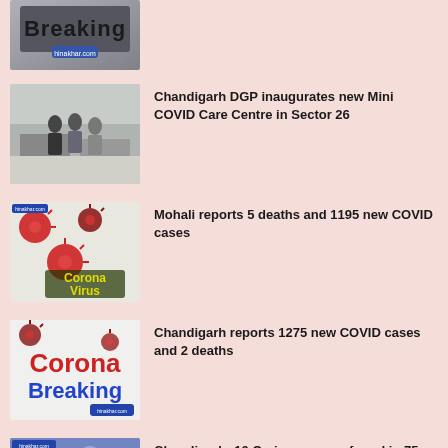[Figure (photo): Breaking news graphic with 'Breaking' text and logo on dark background - partially cropped at top]
[Figure (photo): Photo of people in a medical/care centre facility with tables]
Chandigarh DGP inaugurates new Mini COVID Care Centre in Sector 26
[Figure (illustration): Coronavirus illustration with dark background, red virus particles and 'Corona Virus' yellow text]
Mohali reports 5 deaths and 1195 new COVID cases
[Figure (illustration): Corona Breaking news graphic with red 'Corona' and blue 'Breaking' text on light background with virus particles]
Chandigarh reports 1275 new COVID cases and 2 deaths
[Figure (photo): Photo with blue tint showing people, partially cropped at bottom]
Chandigarh: 10 Omicron cases found in 75 random samples sent for Whole